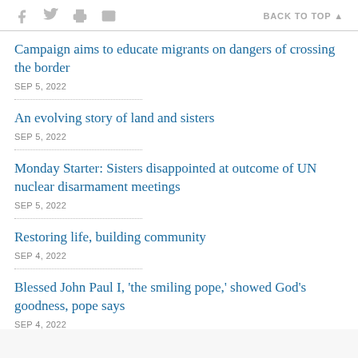f [twitter] [print] [email]   BACK TO TOP ▲
Campaign aims to educate migrants on dangers of crossing the border
SEP 5, 2022
An evolving story of land and sisters
SEP 5, 2022
Monday Starter: Sisters disappointed at outcome of UN nuclear disarmament meetings
SEP 5, 2022
Restoring life, building community
SEP 4, 2022
Blessed John Paul I, 'the smiling pope,' showed God's goodness, pope says
SEP 4, 2022